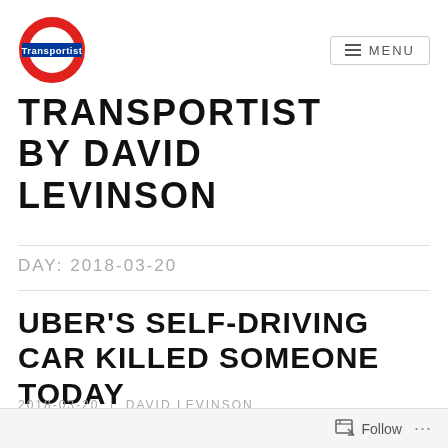Transportist | MENU
TRANSPORTIST BY DAVID LEVINSON
DAY: 2018-03-20
UBER'S SELF-DRIVING CAR KILLED SOMEONE TODAY
2018-03-20 | DAVID LEVINSON
Follow ...